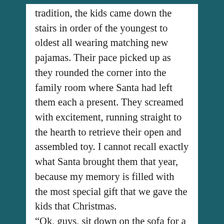tradition, the kids came down the stairs in order of the youngest to oldest all wearing matching new pajamas. Their pace picked up as they rounded the corner into the family room where Santa had left them each a present. They screamed with excitement, running straight to the hearth to retrieve their open and assembled toy. I cannot recall exactly what Santa brought them that year, because my memory is filled with the most special gift that we gave the kids that Christmas.
“Ok, guys, sit down on the sofa for a minute,” We said, and started recording on the camcorder. All four of them sat side by side on the brown leather sofa, with growing curiosity about what was coming next. Our tradition had always been to eat a little breakfast and